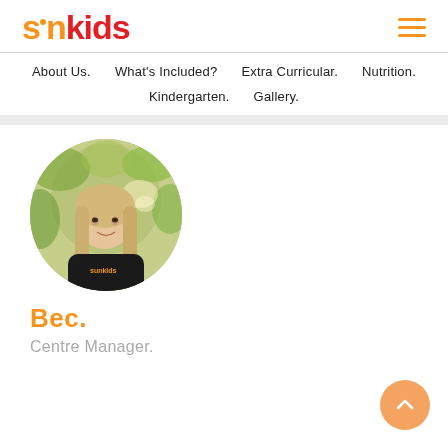[Figure (logo): Sunkids logo with orange 'sun' text and red 'kids' text]
About Us.  What's Included?  Extra Curricular.  Nutrition.  Kindergarten.  Gallery.
[Figure (photo): Circular profile photo of Bec, a woman with blonde hair wearing a black top, with green leafy background]
Bec.
Centre Manager.